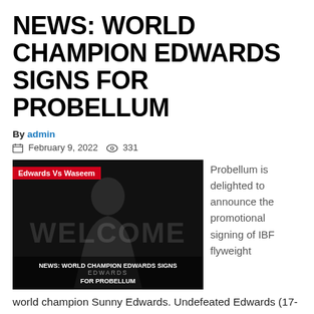NEWS: WORLD CHAMPION EDWARDS SIGNS FOR PROBELLUM
By admin
February 9, 2022   331
[Figure (photo): Black and white promotional image of boxer Sunny Edwards with the word WELCOME in large letters and overlay text reading NEWS: WORLD CHAMPION EDWARDS SIGNS FOR PROBELLUM. A red label reads 'Edwards Vs Waseem'.]
Probellum is delighted to announce the promotional signing of IBF flyweight world champion Sunny Edwards. Undefeated Edwards (17-0, 4 knockout) boasts a proven pedigree at the highest level and captured the world title in April last year when he